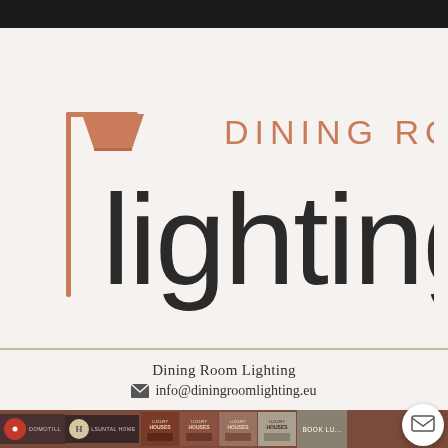[Figure (logo): Dining Room Lighting logo — floor lamp silhouette in copper/rose-gold on the left with text 'DINING ROOM' in copper above and 'lighting' in large dark sans-serif below]
Dining Room Lighting
info@diningroomlighting.eu
[Figure (other): Bottom navigation bar with icons, book covers for Luxury Houses, and a Book button; chat bubble icon in lower right corner]